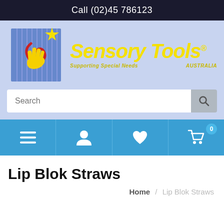Call (02)45 786123
[Figure (logo): Sensory Tools Australia logo with hand, star, spiral on blue striped background, yellow text 'Sensory Tools' with registered trademark, subtitle 'Supporting Special Needs' and 'AUSTRALIA']
Search
Lip Blok Straws
Home / Lip Blok Straws